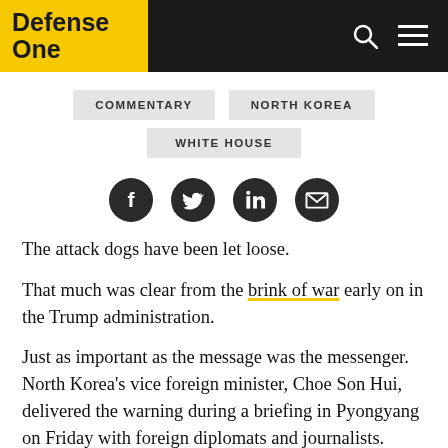Defense One
COMMENTARY
NORTH KOREA
WHITE HOUSE
[Figure (other): Social sharing icons: Facebook, Twitter, LinkedIn, Email]
The attack dogs have been let loose.
That much was clear from the brink of war early on in the Trump administration.
Just as important as the message was the messenger. North Korea's vice foreign minister, Choe Son Hui, delivered the warning during a briefing in Pyongyang on Friday with foreign diplomats and journalists. Choe